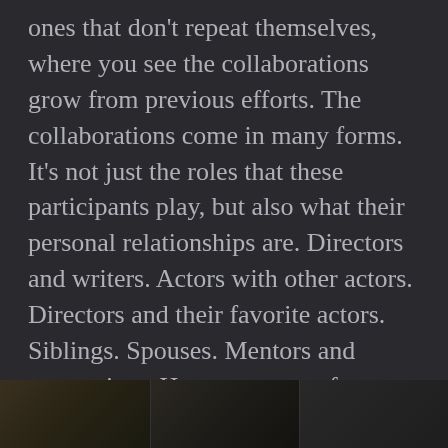ones that don't repeat themselves, where you see the collaborations grow from previous efforts. The collaborations come in many forms. It's not just the roles that these participants play, but also what their personal relationships are. Directors and writers. Actors with other actors. Directors and their favorite actors. Siblings. Spouses. Mentors and apprentices. Here are some of our favorites:
[Figure (photo): Bottom strip showing partial photographs of people, dark toned, three panels]